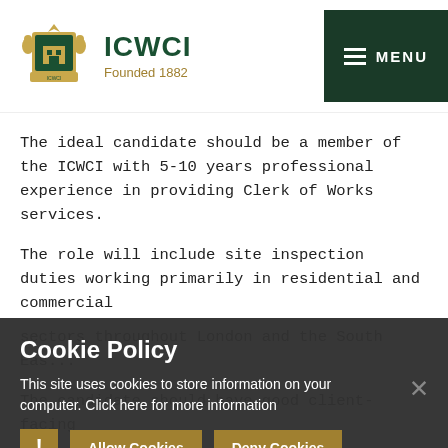ICWCI — Founded 1882 — MENU
The ideal candidate should be a member of the ICWCI with 5-10 years professional experience in providing Clerk of Works services.
The role will include site inspection duties working primarily in residential and commercial sectors throughout London and the South Eas...
The candidate should have good client-facing skills... construction... attention to detail, with good written and...
Cookie Policy — This site uses cookies to store information on your computer. Click here for more information
Allow Cookies | Deny Cookies